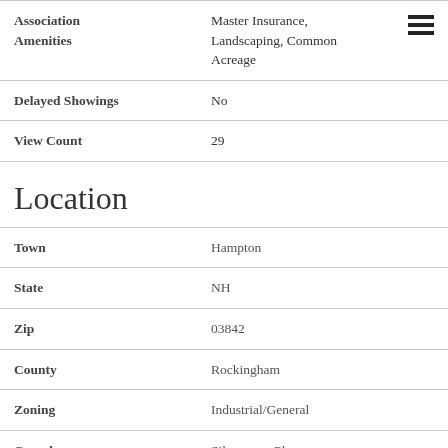| Field | Value |
| --- | --- |
| Association Amenities | Master Insurance, Landscaping, Common Acreage |
| Delayed Showings | No |
| View Count | 29 |
Location
| Field | Value |
| --- | --- |
| Town | Hampton |
| State | NH |
| Zip | 03842 |
| County | Rockingham |
| Zoning | Industrial/General |
| Complex | Silvergrass Place |
| Subdivision | Silvergrass Place |
| Map | 103 |